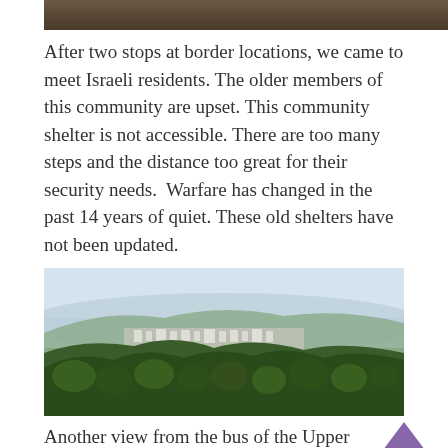[Figure (photo): Partial top edge of a photo showing a dark outdoor scene, cropped at the top of the page]
After two stops at border locations, we came to meet Israeli residents. The older members of this community are upset. This community shelter is not accessible. There are too many steps and the distance too great for their security needs. Warfare has changed in the past 14 years of quiet. These old shelters have not been updated.
[Figure (photo): Panoramic landscape view from a hilltop showing the Upper Galilee region with rolling hills covered in green trees, a town visible in the valley below, and a hazy sky above mountains in the background]
Another view from the bus of the Upper Galilee.